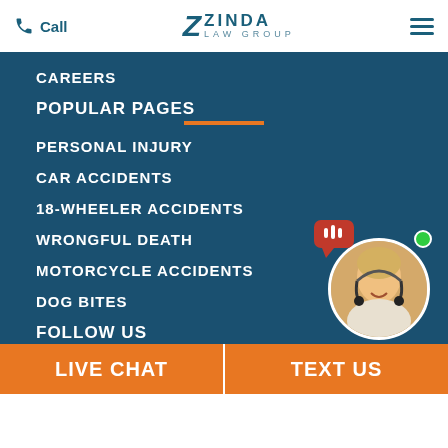Call | Zinda Law Group | Menu
CAREERS
POPULAR PAGES
PERSONAL INJURY
CAR ACCIDENTS
18-WHEELER ACCIDENTS
WRONGFUL DEATH
MOTORCYCLE ACCIDENTS
DOG BITES
FOLLOW US
[Figure (illustration): Social media icons: Facebook, Twitter, LinkedIn, Instagram]
[Figure (photo): Live chat agent widget: woman with headset and green online indicator]
LIVE CHAT | TEXT US